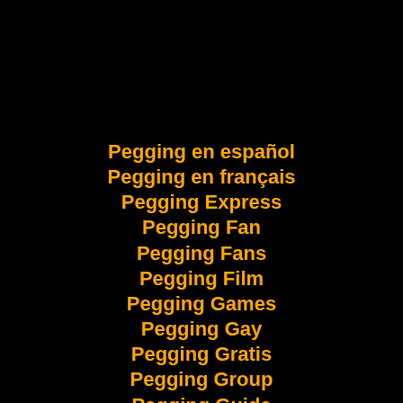Pegging en español
Pegging en français
Pegging Express
Pegging Fan
Pegging Fans
Pegging Film
Pegging Games
Pegging Gay
Pegging Gratis
Pegging Group
Pegging Guide
Pegging Live
Pegging Love
Pegging Me
Pegging Mom
Pegging Movie (partial)